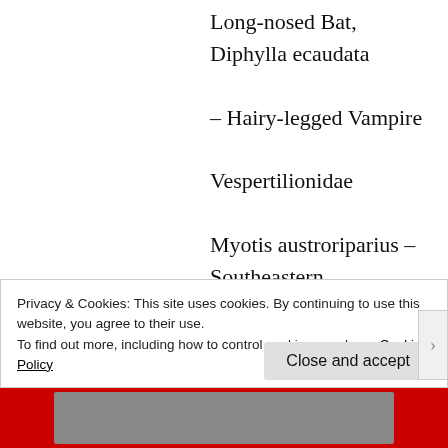Long-nosed Bat, Diphylla ecaudata – Hairy-legged Vampire Vespertilionidae Myotis austroriparius – Southeastern Myotis,Myotis californicus – California Myotis, Myotis ciliolabrum – Western Small-footed Myotis, Myotis occultus – Southwestern Little Brown Myotis, Myotis
Privacy & Cookies: This site uses cookies. By continuing to use this website, you agree to their use.
To find out more, including how to control cookies, see here: Cookie Policy